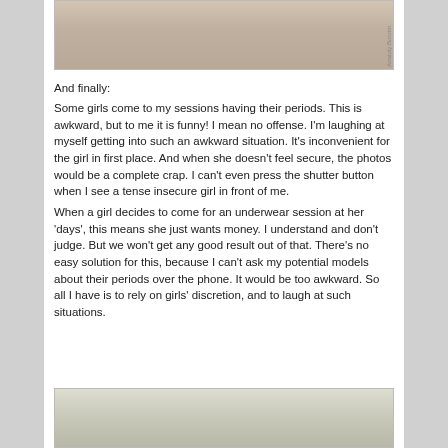[Figure (photo): Top portion of a photo showing fabric/sheets, partially cropped at page top]
And finally:
Some girls come to my sessions having their periods. This is awkward, but to me it is funny! I mean no offense. I'm laughing at myself getting into such an awkward situation. It's inconvenient for the girl in first place. And when she doesn't feel secure, the photos would be a complete crap. I can't even press the shutter button when I see a tense insecure girl in front of me.
When a girl decides to come for an underwear session at her 'days', this means she just wants money. I understand and don't judge. But we won't get any good result out of that. There's no easy solution for this, because I can't ask my potential models about their periods over the phone. It would be too awkward. So all I have is to rely on girls' discretion, and to laugh at such situations.
[Figure (photo): Bottom portion of a photo showing a person outdoors, partially cropped at page bottom]